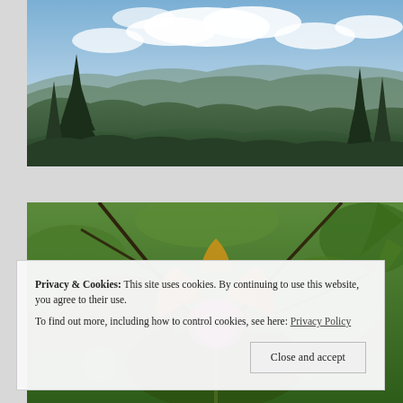[Figure (photo): Panoramic mountain landscape photo showing rolling green forested hills and valleys under a partly cloudy sky with spruce trees in the foreground]
[Figure (photo): Close-up photo of a yellow and orange orchid flower (likely a lady's slipper orchid) surrounded by green foliage and tree branches]
Privacy & Cookies: This site uses cookies. By continuing to use this website, you agree to their use.
To find out more, including how to control cookies, see here: Privacy Policy